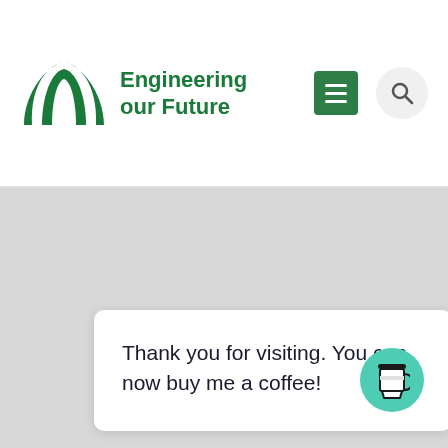[Figure (logo): Engineering our Future logo with green stylized arch/wings icon and green bold text]
[Figure (screenshot): Navigation menu icon (hamburger, green background) and search icon (magnifying glass, gray circle)]
Thank you for visiting. You can now buy me a coffee!
[Figure (illustration): Teal/mint circular button with a coffee cup icon]